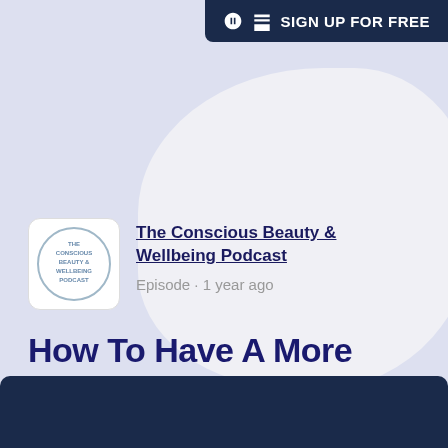[Figure (logo): Sign up for free button with Substack logo icon, dark navy background, top-right corner]
[Figure (logo): The Conscious Beauty & Wellbeing Podcast circular logo, white background with text]
The Conscious Beauty & Wellbeing Podcast
Episode · 1 year ago
How To Have A More Conscious Christmas